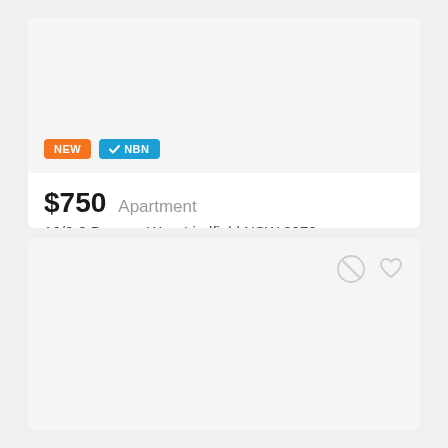[Figure (photo): Property listing card image area (light gray placeholder)]
NEW
✓ NBN
$750  Apartment
16/6-8 Drovers Way, Lindfield NSW 2070
2 bedrooms  2 bathrooms  1 parking  85
[Figure (photo): Second listing card image area (light gray placeholder) with action icons]